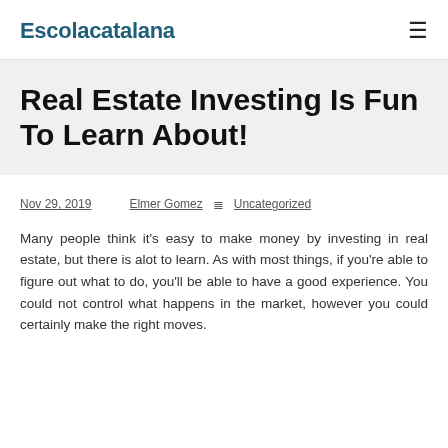Escolacatalana
Real Estate Investing Is Fun To Learn About!
Nov 29, 2019   Elmer Gomez   Uncategorized
Many people think it's easy to make money by investing in real estate, but there is alot to learn. As with most things, if you're able to figure out what to do, you'll be able to have a good experience. You could not control what happens in the market, however you could certainly make the right moves.